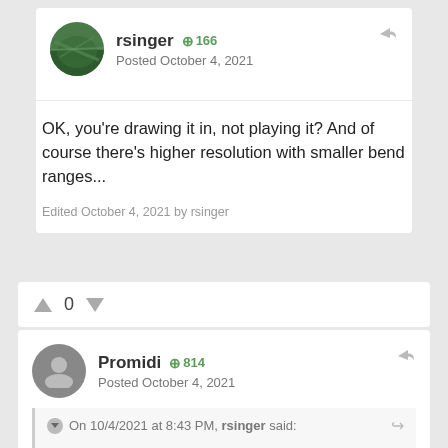rsinger  +166
Posted October 4, 2021
OK, you're drawing it in, not playing it? And of course there's higher resolution with smaller bend ranges...
Edited October 4, 2021 by rsinger
0
Promidi  +814
Posted October 4, 2021
On 10/4/2021 at 8:43 PM, rsinger said:
OK, you're drawing it in, not playing it? And of course there's higher resolution with smaller bend ranges...